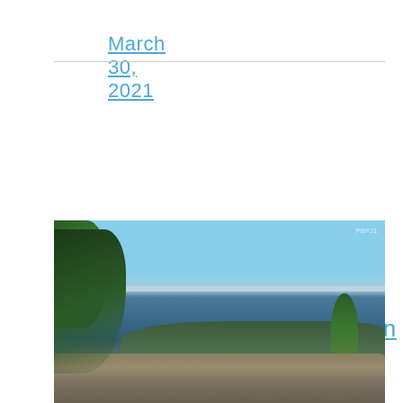March 30, 2021
View From Black Mountain
[Figure (photo): Landscape photo taken from Black Mountain summit showing a wide panoramic view with rock outcroppings in the foreground, forested hills in the middle distance, a large body of water or flat terrain on the horizon, and a blue sky with light clouds. Trees frame the left and right sides of the image. A small watermark 'PBP21' appears in the upper right corner.]